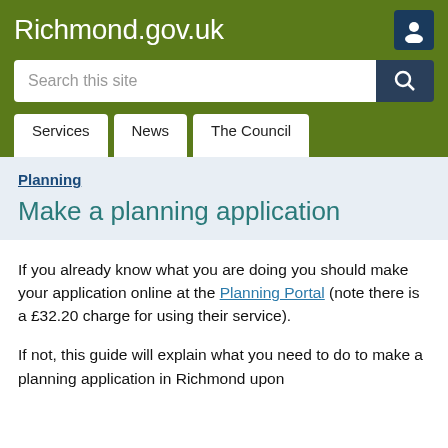Richmond.gov.uk
Planning
Make a planning application
If you already know what you are doing you should make your application online at the Planning Portal (note there is a £32.20 charge for using their service).
If not, this guide will explain what you need to do to make a planning application in Richmond upon